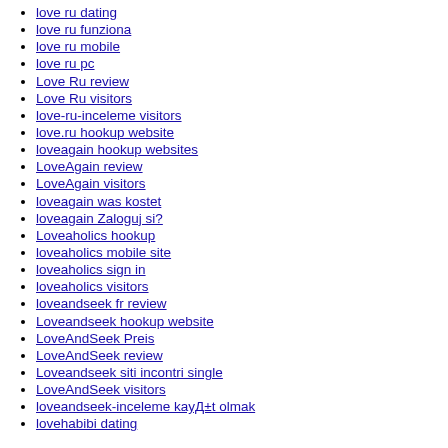love ru dating
love ru funziona
love ru mobile
love ru pc
Love Ru review
Love Ru visitors
love-ru-inceleme visitors
love.ru hookup website
loveagain hookup websites
LoveAgain review
LoveAgain visitors
loveagain was kostet
loveagain Zaloguj si?
Loveaholics hookup
loveaholics mobile site
loveaholics sign in
loveaholics visitors
loveandseek fr review
Loveandseek hookup website
LoveAndSeek Preis
LoveAndSeek review
Loveandseek siti incontri single
LoveAndSeek visitors
loveandseek-inceleme kayД±t olmak
lovehabibi dating